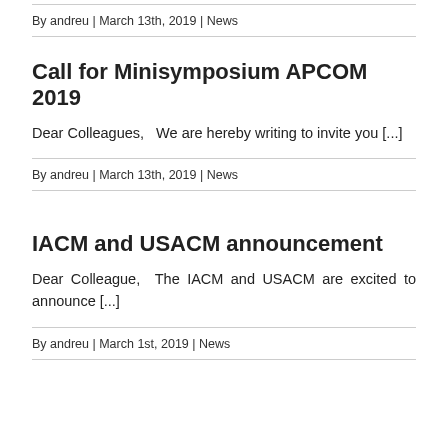By andreu | March 13th, 2019 | News
Call for Minisymposium APCOM 2019
Dear Colleagues,   We are hereby writing to invite you [...]
By andreu | March 13th, 2019 | News
IACM and USACM announcement
Dear Colleague, The IACM and USACM are excited to announce [...]
By andreu | March 1st, 2019 | News